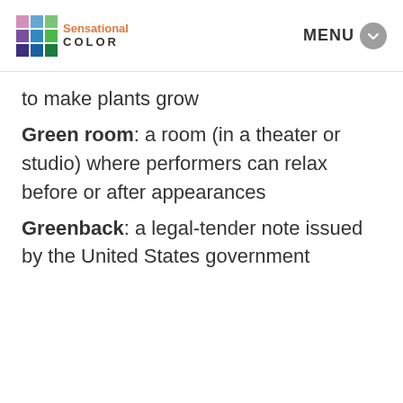[Figure (logo): Sensational Color logo with 3x3 grid of colored squares and brand name]
to make plants grow
Green room: a room (in a theater or studio) where performers can relax before or after appearances
Greenback: a legal-tender note issued by the United States government